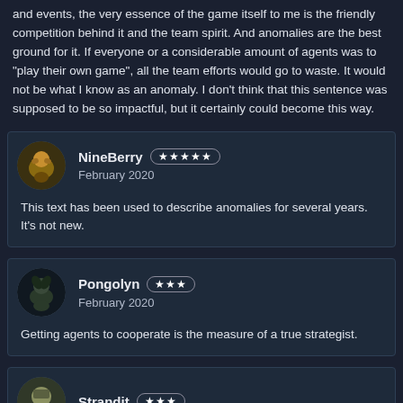and events, the very essence of the game itself to me is the friendly competition behind it and the team spirit. And anomalies are the best ground for it. If everyone or a considerable amount of agents was to "play their own game", all the team efforts would go to waste. It would not be what I know as an anomaly. I don't think that this sentence was supposed to be so impactful, but it certainly could become this way.
NineBerry ★★★★★ February 2020 — This text has been used to describe anomalies for several years. It's not new.
Pongolyn ★★★ February 2020 — Getting agents to cooperate is the measure of a true strategist.
Strandit ★★★